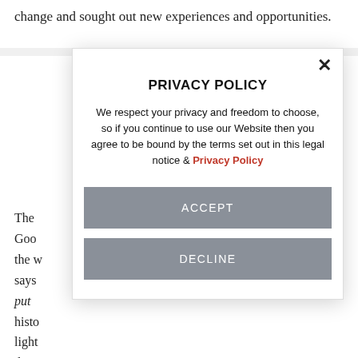change and sought out new experiences and opportunities.
[Figure (screenshot): Privacy policy modal dialog overlay with title 'PRIVACY POLICY', body text about privacy and freedom to choose, a link 'Privacy Policy' in red, an ACCEPT button and a DECLINE button, and a close (X) button in the top right corner.]
The Goo the w says put histo light deco hav